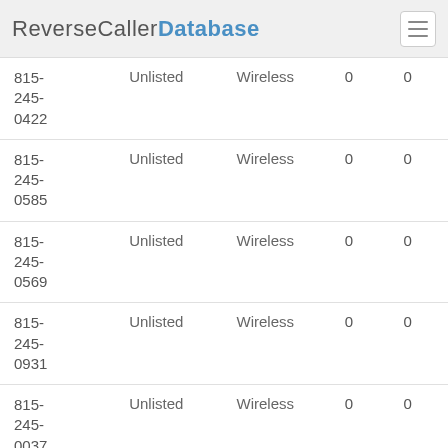ReverseCallerDatabase
| Phone | Listing | Type | Col4 | Col5 |
| --- | --- | --- | --- | --- |
| 815-245-0422 | Unlisted | Wireless | 0 | 0 |
| 815-245-0585 | Unlisted | Wireless | 0 | 0 |
| 815-245-0569 | Unlisted | Wireless | 0 | 0 |
| 815-245-0931 | Unlisted | Wireless | 0 | 0 |
| 815-245-0037 | Unlisted | Wireless | 0 | 0 |
| 815-245- | Unlisted | Wireless | 0 | 0 |